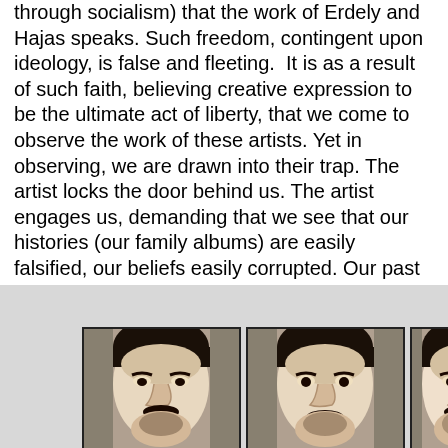through socialism) that the work of Erdely and Hajas speaks. Such freedom, contingent upon ideology, is false and fleeting.  It is as a result of such faith, believing creative expression to be the ultimate act of liberty, that we come to observe the work of these artists. Yet in observing, we are drawn into their trap. The artist locks the door behind us. The artist engages us, demanding that we see that our histories (our family albums) are easily falsified, our beliefs easily corrupted. Our past (the text of history) is our bondage, our truth is our lie. The artist demands that we reject bondage, that we abandon the safety of faith, grounded in ideology, and experience total freedom. (11)
[Figure (photo): Three black and white portrait photographs of a man's face arranged in a row against a light grey background. Each photo shows a close-up of the same man, slightly different expressions or angles.]